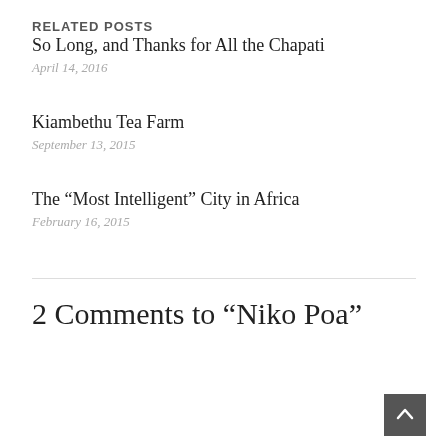RELATED POSTS
So Long, and Thanks for All the Chapati
April 14, 2016
Kiambethu Tea Farm
September 13, 2015
The “Most Intelligent” City in Africa
February 16, 2015
2 Comments to “Niko Poa”